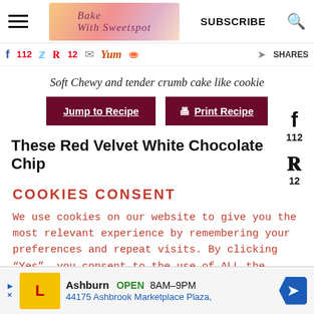Bake With Sweetspot — SUBSCRIBE
f 112  [twitter]  p 12  [mail]  Yum  [reddit]  [share arrow]  SHARES
Soft Chewy and tender crumb cake like cookie
Jump to Recipe | Print Recipe
These Red Velvet White Chocolate Chip
COOKIES CONSENT
We use cookies on our website to give you the most relevant experience by remembering your preferences and repeat visits. By clicking "Yes", you consent to the use of ALL the cookies.
[Figure (screenshot): Advertisement banner: Lidl store in Ashburn, OPEN 8AM-9PM, 44175 Ashbrook Marketplace Plaza, with blue directional arrow icon]